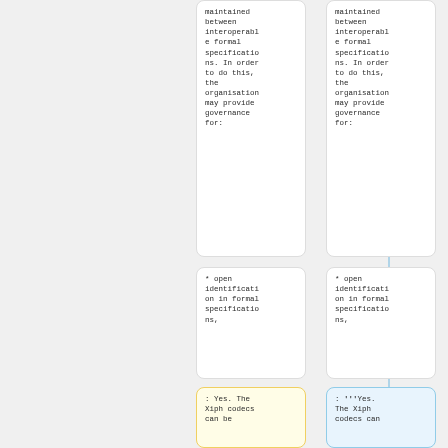maintained between interoperable formal specifications. In order to do this, the organisation may provide governance for:
maintained between interoperable formal specifications. In order to do this, the organisation may provide governance for:
* open identification in formal specifications,
* open identification in formal specifications,
: Yes. The Xiph codecs can be
: '''Yes. The Xiph codecs can be